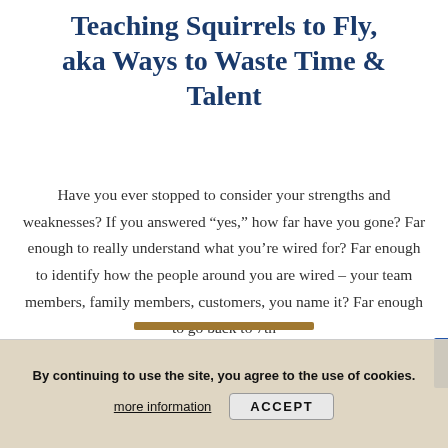Teaching Squirrels to Fly, aka Ways to Waste Time & Talent
Have you ever stopped to consider your strengths and weaknesses? If you answered “yes,” how far have you gone? Far enough to really understand what you’re wired for? Far enough to identify how the people around you are wired – your team members, family members, customers, you name it? Far enough to go back to 7th
By continuing to use the site, you agree to the use of cookies.